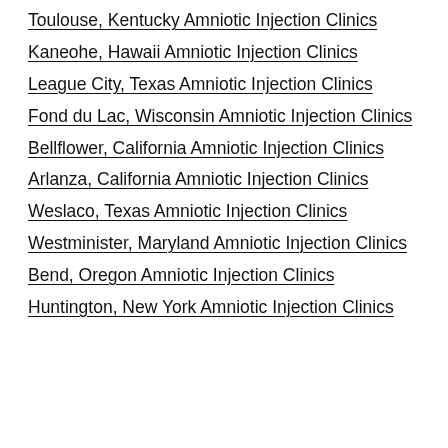Toulouse, Kentucky Amniotic Injection Clinics
Kaneohe, Hawaii Amniotic Injection Clinics
League City, Texas Amniotic Injection Clinics
Fond du Lac, Wisconsin Amniotic Injection Clinics
Bellflower, California Amniotic Injection Clinics
Arlanza, California Amniotic Injection Clinics
Weslaco, Texas Amniotic Injection Clinics
Westminister, Maryland Amniotic Injection Clinics
Bend, Oregon Amniotic Injection Clinics
Huntington, New York Amniotic Injection Clinics